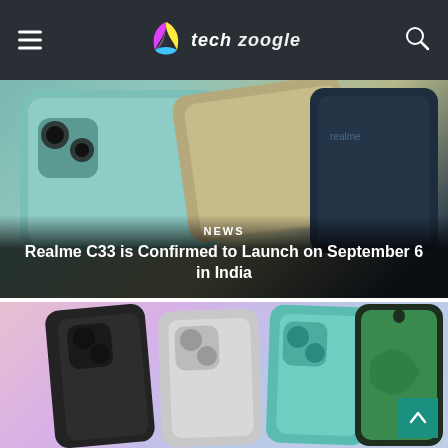Tech Zoogle
[Figure (photo): Multiple Realme C33 smartphones shown from the back in teal, gold/beige, and dark navy color variants on a dark surface background, with NEWS label and article title overlay]
Realme C33 is Confirmed to Launch on September 6 in India
[Figure (photo): Multiple Realme C51 or similar smartphones shown from front and back in black, silver, and teal color variants on a pink-purple gradient background]